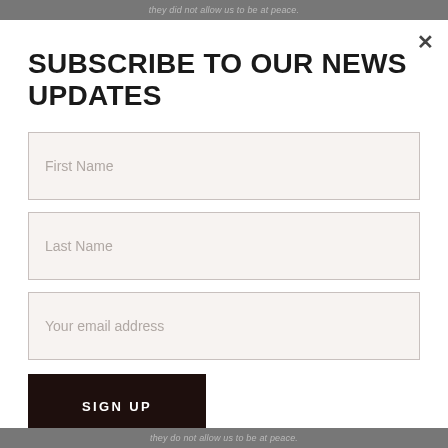they did not allow us to be at peace.
SUBSCRIBE TO OUR NEWS UPDATES
First Name
Last Name
Your email address
SIGN UP
they do not...